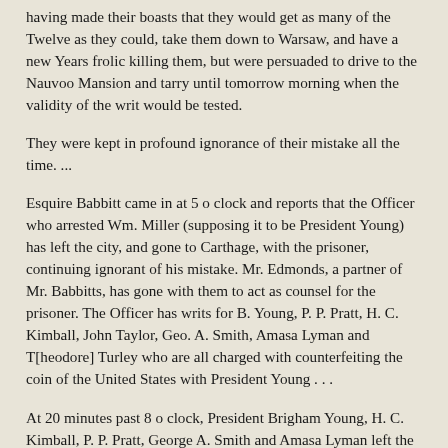having made their boasts that they would get as many of the Twelve as they could, take them down to Warsaw, and have a new Years frolic killing them, but were persuaded to drive to the Nauvoo Mansion and tarry until tomorrow morning when the validity of the writ would be tested.
They were kept in profound ignorance of their mistake all the time. ...
Esquire Babbitt came in at 5 o clock and reports that the Officer who arrested Wm. Miller (supposing it to be President Young) has left the city, and gone to Carthage, with the prisoner, continuing ignorant of his mistake. Mr. Edmonds, a partner of Mr. Babbitts, has gone with them to act as counsel for the prisoner. The Officer has writs for B. Young, P. P. Pratt, H. C. Kimball, John Taylor, Geo. A. Smith, Amasa Lyman and T[heodore] Turley who are all charged with counterfeiting the coin of the United States with President Young . . .
At 20 minutes past 8 o clock, President Brigham Young, H. C. Kimball, P. P. Pratt, George A. Smith and Amasa Lyman left the Temple, nearly at the same time, disguised with other mens Hats